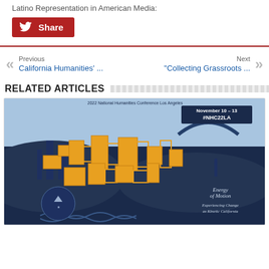Latino Representation in American Media:
Share
Previous
California Humanities' ...
Next
"Collecting Grassroots ..."
RELATED ARTICLES
[Figure (photo): 2022 National Humanities Conference Los Angeles promotional image. November 10-13, #NHC22LA. Energy of Motion: Experiencing Change as Kinetic California. Stylized graphic of Los Angeles skyline with orange geometric building blocks on dark navy background.]